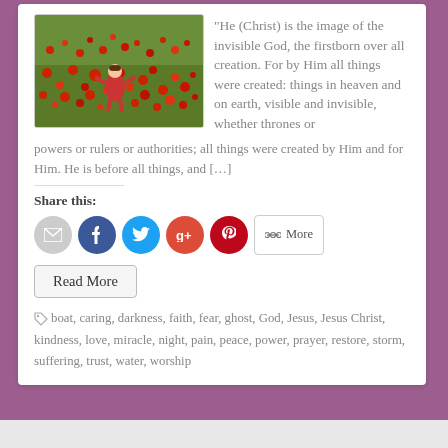[Figure (photo): Child in red dress standing in a field of red poppies/flowers with green grass]
“He (Christ) is the image of the invisible God, the firstborn over all creation. For by Him all things were created: things in heaven and on earth, visible and invisible, whether thrones or powers or rulers or authorities; all things were created by Him and for Him. He is before all things, and […]
Share this:
Read More
boat, caring, darkness, faith, fear, ghost, God, Jesus, Jesus Christ, kindness, love, miracle, night, pain, peace, power, prayer, restore, storm, suffering, trust, water, worship